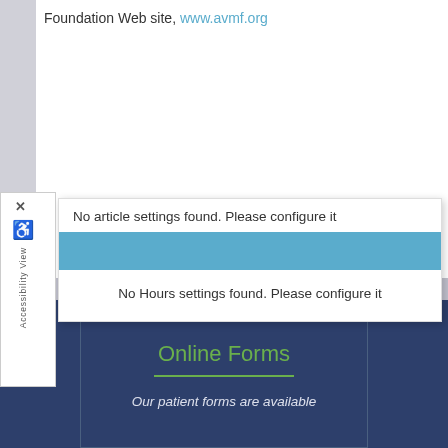Foundation Web site, www.avmf.org
No article settings found. Please configure it
No Hours settings found. Please configure it
Online Forms
Our patient forms are available